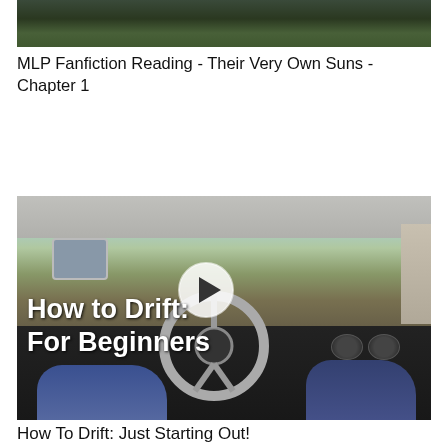[Figure (screenshot): Partial video thumbnail at top of page, dark greenish image (partially visible)]
MLP Fanfiction Reading - Their Very Own Suns - Chapter 1
[Figure (screenshot): Video thumbnail showing car interior dashboard view with 'How to Drift: For Beginners' text overlay and play button]
How To Drift: Just Starting Out!
[Figure (screenshot): Partial video thumbnail at bottom showing dramatic sky at sunset/dusk, partially visible]